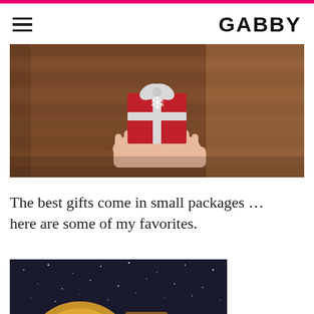GABBY
[Figure (photo): Hands holding a small red Christmas gift with decorative wrapping against a wooden floor background]
The best gifts come in small packages … here are some of my favorites.
[Figure (photo): Partially visible product image on dark starry background, appears to be a round golden object]